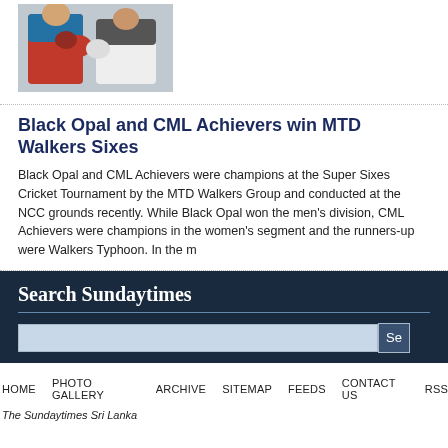[Figure (photo): Two boxers fighting, one in red and blue gear]
Black Opal and CML Achievers win MTD Walkers Sixes
Black Opal and CML Achievers were champions at the Super Sixes Cricket Tournament by the MTD Walkers Group and conducted at the NCC grounds recently. While Black Opal won the men's division, CML Achievers were champions in the women's segment and the runners-up were Walkers Typhoon. In the m
Search Sundaytimes
HOME   PHOTO GALLERY   ARCHIVE   SITEMAP   FEEDS   CONTACT US   RSS
The Sundaytimes Sri Lanka